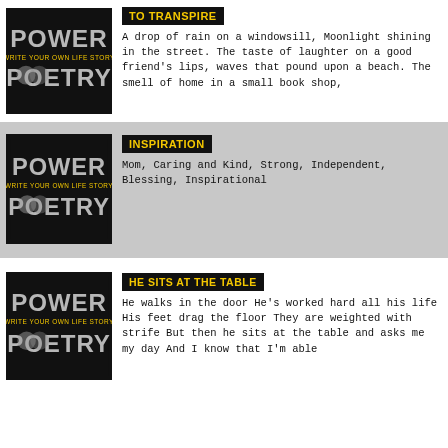TO TRANSPIRE
A drop of rain on a windowsill, Moonlight shining in the street.  The taste of laughter on a good friend's lips, waves that pound upon a beach.  The smell of home in a small book shop,
INSPIRATION
Mom, Caring and Kind, Strong, Independent, Blessing, Inspirational
HE SITS AT THE TABLE
He walks in the door He's worked hard all his life His feet drag the floor They are weighted with strife But then he sits at the table and asks me my day And I know that I'm able